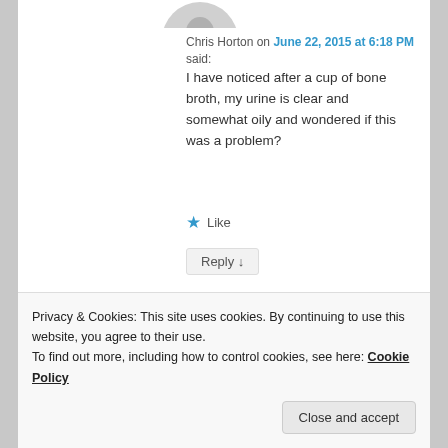[Figure (photo): Partial view of a circular user avatar (gray silhouette) at the top]
Chris Horton on June 22, 2015 at 6:18 PM said:
I have noticed after a cup of bone broth, my urine is clear and somewhat oily and wondered if this was a problem?
★ Like
Reply ↓
[Figure (photo): Small square photo of a dog (husky/shepherd type) used as avatar for esmeelafleur]
esmeelafleur on June 24, 2015 at 11:52 AM said:
Privacy & Cookies: This site uses cookies. By continuing to use this website, you agree to their use.
To find out more, including how to control cookies, see here: Cookie Policy
Close and accept